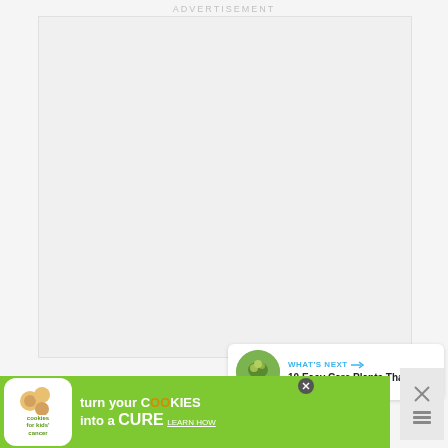ADVERTISEMENT
[Figure (other): Empty advertisement placeholder box with light gray background]
[Figure (other): Blue circular heart/like button with white heart icon, showing count of 80, and white circular share button below]
[Figure (other): WHAT'S NEXT panel showing a circular plant thumbnail and text '10 Easy Care Plants That...']
[Figure (other): Green banner advertisement for Cookies for Kids Cancer: 'turn your COOKIES into a CURE LEARN HOW' with cookies logo on left]